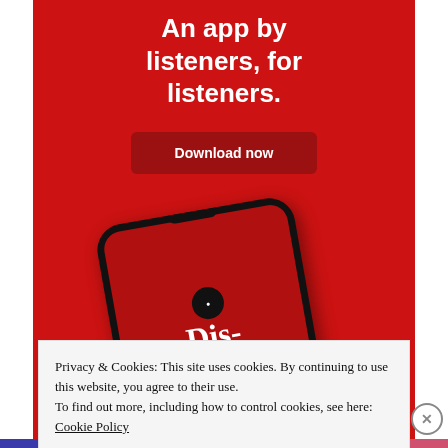[Figure (screenshot): Red advertisement banner for a podcast listening app. Bold white text reads 'An app by listeners, for listeners.' with a 'Download now' button and a phone mockup showing a podcast called 'Distributed'.]
Privacy & Cookies: This site uses cookies. By continuing to use this website, you agree to their use.
To find out more, including how to control cookies, see here: Cookie Policy
Close and accept